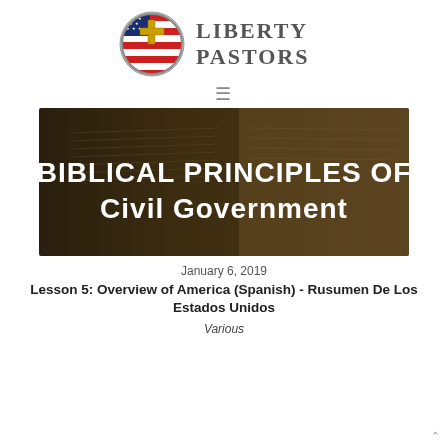[Figure (logo): Liberty Pastors logo with circular emblem showing a cross over American flag design, and text 'Liberty Pastors' to the right]
[Figure (illustration): Dark sepia-toned banner image of an open Bible with large white text overlay reading 'Biblical Principles of Civil Government']
January 6, 2019
Lesson 5: Overview of America (Spanish) - Rusumen De Los Estados Unidos
Various